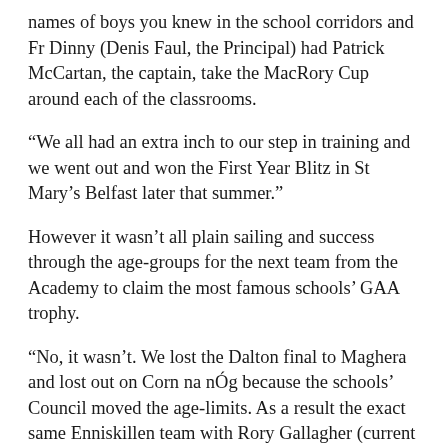names of boys you knew in the school corridors and Fr Dinny (Denis Faul, the Principal) had Patrick McCartan, the captain, take the MacRory Cup around each of the classrooms.
“We all had an extra inch to our step in training and we went out and won the First Year Blitz in St Mary’s Belfast later that summer.”
However it wasn’t all plain sailing and success through the age-groups for the next team from the Academy to claim the most famous schools’ GAA trophy.
“No, it wasn’t. We lost the Dalton final to Maghera and lost out on Corn na nÓg because the schools’ Council moved the age-limits. As a result the exact same Enniskillen team with Rory Gallagher (current Derry manager) on it won the competition two years in a row.
“We won the Rannafast however, against Enniskillen, even though we finished the final with 13 players. Martin Early was immense for us that day as he was a couple of years later in the MacRory.”
Maghera however dealt out a football lesson in 1996 as